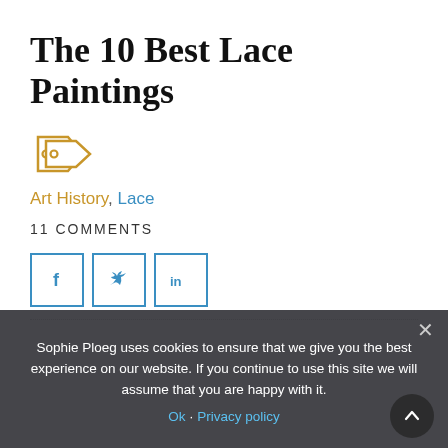The 10 Best Lace Paintings
[Figure (illustration): Double tag/label icon in golden/tan color]
Art History, Lace
11 COMMENTS
[Figure (other): Social share buttons for Facebook, Twitter, and LinkedIn]
Sophie Ploeg uses cookies to ensure that we give you the best experience on our website. If you continue to use this site we will assume that you are happy with it.
Ok · Privacy policy